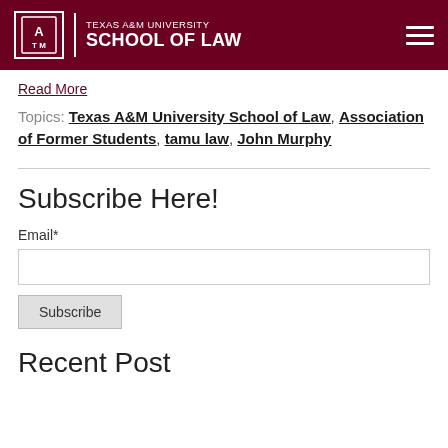Texas A&M University School of Law
Read More
Topics: Texas A&M University School of Law, Association of Former Students, tamu law, John Murphy
Subscribe Here!
Email*
Recent Post